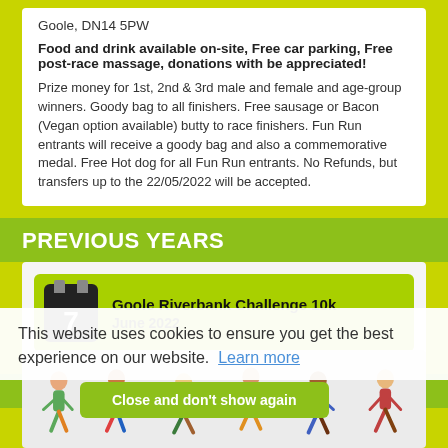Goole, DN14 5PW
Food and drink available on-site, Free car parking, Free post-race massage, donations with be appreciated!
Prize money for 1st, 2nd & 3rd male and female and age-group winners. Goody bag to all finishers. Free sausage or Bacon (Vegan option available) butty to race finishers. Fun Run entrants will receive a goody bag and also a commemorative medal. Free Hot dog for all Fun Run entrants. No Refunds, but transfers up to the 22/05/2022 will be accepted.
PREVIOUS YEARS
Goole Riverbank Challenge 10k
June 2022
RELATED RACES
This website uses cookies to ensure you get the best experience on our website. Learn more
Close and don't show again